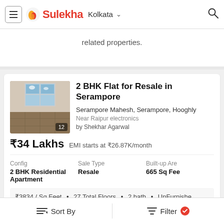☰  Sulekha  Kolkata ∨  🔍
related properties.
2 BHK Flat for Resale in Serampore
Serampore Mahesh, Serampore, Hooghly
Near Raipur electronics
by Shekhar Agarwal
₹34 Lakhs  EMI starts at ₹26.87K/month
| Config | Sale Type | Built-up Area |
| --- | --- | --- |
| 2 BHK Residential Apartment | Resale | 665 Sq Feet |
₹3834 / Sq Feet  •  27 Total Floors  •  2 bath  •  UnFurnished
Sort By   Filter